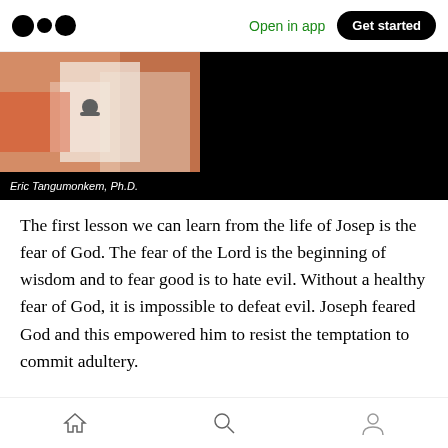Medium app header — Open in app | Get started
[Figure (photo): Photo showing hands with black nail polish and white clothing, overlaid with author name 'Eric Tangumonkem, Ph.D.' on black bar]
The first lesson we can learn from the life of Josep is the fear of God. The fear of the Lord is the beginning of wisdom and to fear good is to hate evil. Without a healthy fear of God, it is impossible to defeat evil. Joseph feared God and this empowered him to resist the temptation to commit adultery.
The second lesson is forgiveness. Joseph's
Bottom navigation: Home, Search, Profile